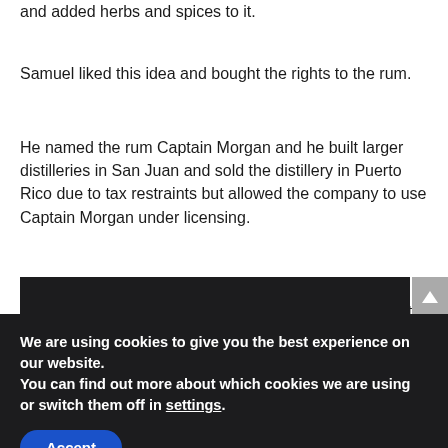and added herbs and spices to it.
Samuel liked this idea and bought the rights to the rum.
He named the rum Captain Morgan and he built larger distilleries in San Juan and sold the distillery in Puerto Rico due to tax restraints but allowed the company to use Captain Morgan under licensing.
By 1984 Captain Morgan Rum was the 7th largest spirit brand in the world, the 2nd largest in United States and is sold around the world.
[Figure (other): Dark image placeholder area]
We are using cookies to give you the best experience on our website.
You can find out more about which cookies we are using or switch them off in settings.
Accept